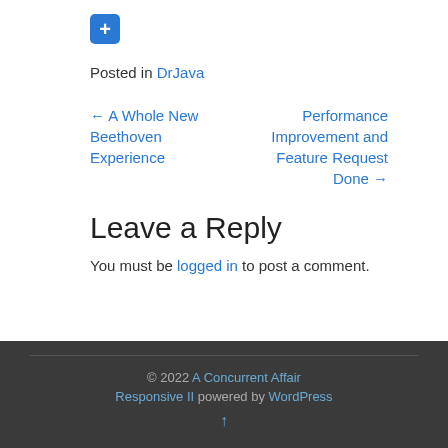[Figure (other): Blue square button with a white plus (+) sign]
Posted in DrJava
← A Whole New Beethoven Experience
Performance Improvement and Feature Request Done →
Leave a Reply
You must be logged in to post a comment.
© 2022 A Concurrent Affair Responsive II powered by WordPress ↑